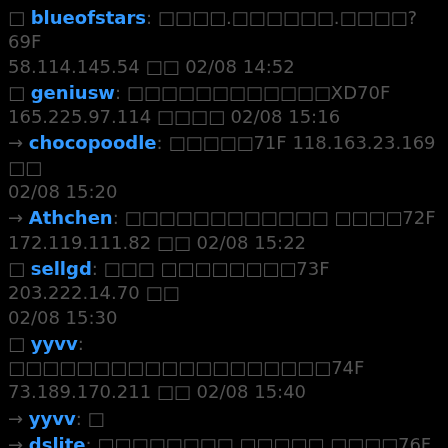□ blueofstars: □□□□.□□□□□□.□□□□?69F 58.114.145.54 □□ 02/08 14:52
□ geniusw: □□□□□□□□□□□□XD70F 165.225.97.114 □□□□ 02/08 15:16
→ chocopoodle: □□□□□71F 118.163.23.169 □□ 02/08 15:20
→ Athchen: □□□□□□□□□□□□ □□□□72F 172.119.111.82 □□ 02/08 15:22
□ sellgd: □□□ □□□□□□□□73F 203.222.14.70 □□ 02/08 15:30
□ yyvv: □□□□□□□□□□□□□□□□□□□74F 73.189.170.211 □□ 02/08 15:40
→ yyvv: □
→ dslite: □□□□□□□□ □□□□□ □□□□76F 223.139.29.132 □□ 02/08 15:49
□ steven87066: □□□□77F 101.10.12.226 □□ 02/08 16:36
→ bostshow: □□□□□□□□□□□□□□□□□□□□□□□□□□□□□□□□□□□□